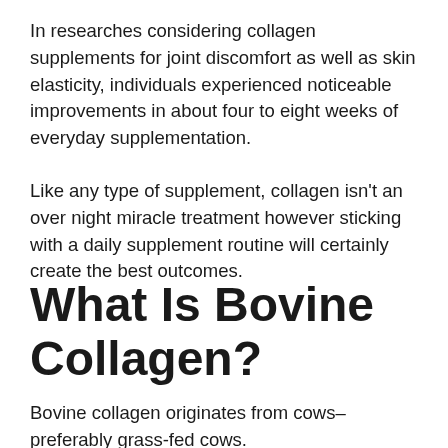In researches considering collagen supplements for joint discomfort as well as skin elasticity, individuals experienced noticeable improvements in about four to eight weeks of everyday supplementation.
Like any type of supplement, collagen isn't an over night miracle treatment however sticking with a daily supplement routine will certainly create the best outcomes.
What Is Bovine Collagen?
Bovine collagen originates from cows– preferably grass-fed cows.